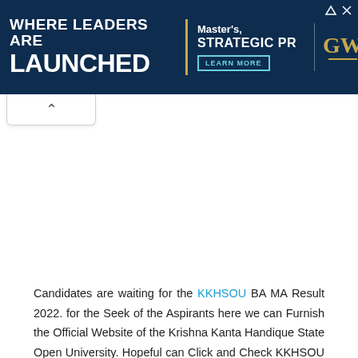[Figure (infographic): Advertisement banner with dark navy blue background. Left side shows bold white text 'WHERE LEADERS ARE LAUNCHED' in large uppercase letters. Center shows 'Master's, STRATEGIC PR' with a 'LEARN MORE' button in teal outline. Right side shows GW logo in gold with 'GSPM' in white text. Gold vertical accent bar separates left and center sections.]
[Figure (other): White scroll-up tab with upward-pointing chevron arrow, positioned below the ad banner on the left side.]
Candidates are waiting for the KKHSOU BA MA Result 2022. for the Seek of the Aspirants here we can Furnish the Official Website of the Krishna Kanta Handique State Open University. Hopeful can Click and Check KKHSOU Result 2022 by entering